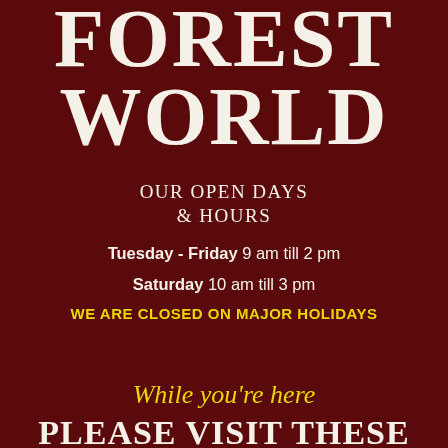FOREST WORLD
OUR OPEN DAYS & HOURS
Tuesday - Friday 9 am till 2 pm
Saturday 10 am till 3 pm
WE ARE CLOSED ON MAJOR HOLIDAYS
While you're here
PLEASE VISIT THESE